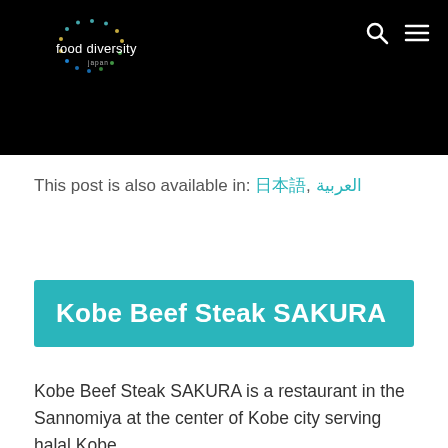[Figure (logo): Food Diversity Japan logo with circular dotted border on black background, search icon and hamburger menu icon on the right]
This post is also available in: 日本語, العربية
Kobe Beef Steak SAKURA
Kobe Beef Steak SAKURA is a restaurant in the Sannomiya at the center of Kobe city serving halal Kobe